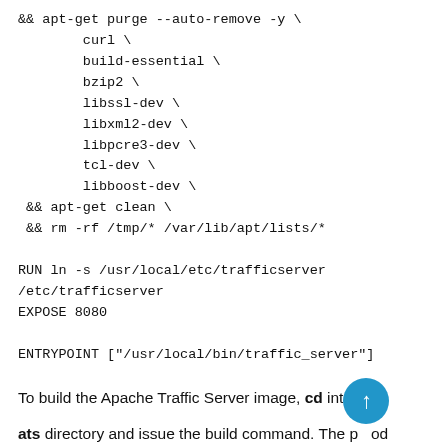&& apt-get purge --auto-remove -y \
        curl \
        build-essential \
        bzip2 \
        libssl-dev \
        libxml2-dev \
        libpcre3-dev \
        tcl-dev \
        libboost-dev \
 && apt-get clean \
 && rm -rf /tmp/* /var/lib/apt/lists/*

RUN ln -s /usr/local/etc/trafficserver
/etc/trafficserver
EXPOSE 8080

ENTRYPOINT ["/usr/local/bin/traffic_server"]
To build the Apache Traffic Server image, cd into the ats directory and issue the build command. The period (.) at the end of the build command is there on purpose